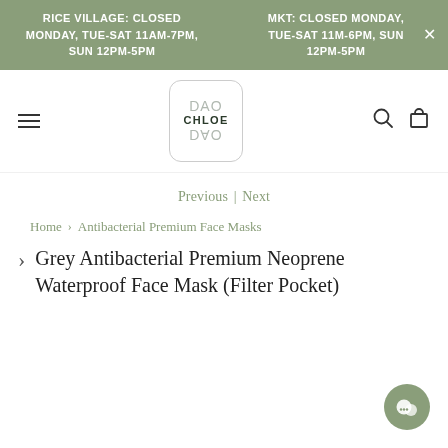RICE VILLAGE: CLOSED MONDAY, TUE-SAT 11AM-7PM, SUN 12PM-5PM | MKT: CLOSED MONDAY, TUE-SAT 11M-6PM, SUN 12PM-5PM
[Figure (logo): DAO CHLOE DAO logo in a rounded rectangle border]
Previous | Next
Home > Antibacterial Premium Face Masks
Grey Antibacterial Premium Neoprene Waterproof Face Mask (Filter Pocket)